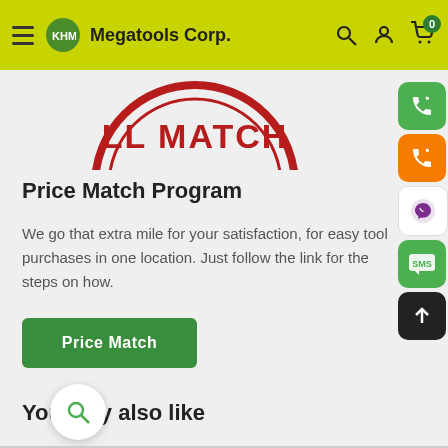Megatools Corp.
[Figure (illustration): Partial circular red stamp graphic showing text 'LL MATCH' in red on white background with red border]
Price Match Program
We go that extra mile for your satisfaction, for easy tool purchases in one location. Just follow the link for the steps on how.
Price Match
You may also like